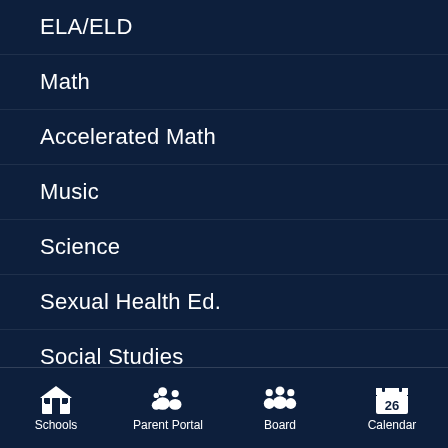ELA/ELD
Math
Accelerated Math
Music
Science
Sexual Health Ed.
Social Studies
GATE
Assessments
Schools   Parent Portal   Board   Calendar